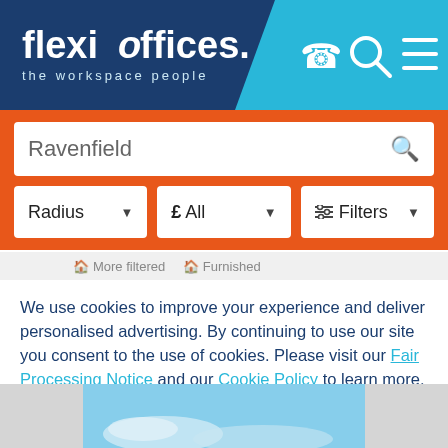[Figure (screenshot): Flexioffices website header with logo on dark blue background and cyan accent, showing phone, search, and menu icons]
Ravenfield
Radius | £ All | Filters
More filtered  Furnished
We use cookies to improve your experience and deliver personalised advertising. By continuing to use our site you consent to the use of cookies. Please visit our Fair Processing Notice and our Cookie Policy to learn more.
Read more
Accept & Close
[Figure (photo): Partial photo showing a building exterior against a blue sky with clouds]